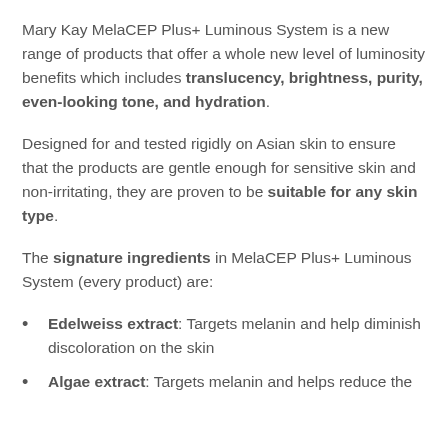Mary Kay MelaCEP Plus+ Luminous System is a new range of products that offer a whole new level of luminosity benefits which includes translucency, brightness, purity, even-looking tone, and hydration.
Designed for and tested rigidly on Asian skin to ensure that the products are gentle enough for sensitive skin and non-irritating, they are proven to be suitable for any skin type.
The signature ingredients in MelaCEP Plus+ Luminous System (every product) are:
Edelweiss extract: Targets melanin and help diminish discoloration on the skin
Algae extract: Targets melanin and helps reduce the